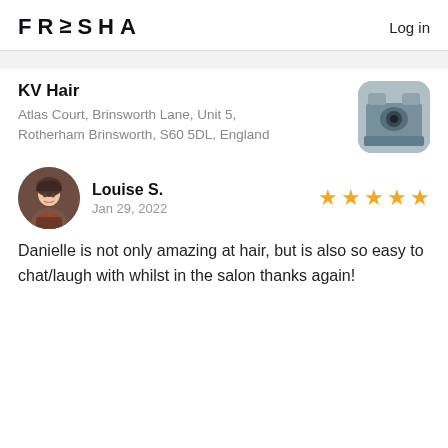FRESHA  Log in
KV Hair
Atlas Court, Brinsworth Lane, Unit 5, Rotherham Brinsworth, S60 5DL, England
[Figure (photo): Thumbnail photo of hair salon interior showing hair washing basin chairs]
[Figure (photo): Circular avatar photo of reviewer Louise S., a young woman]
Louise S.
Jan 29, 2022
[Figure (infographic): Five gold/yellow star rating]
Danielle is not only amazing at hair, but is also so easy to chat/laugh with whilst in the salon thanks again!